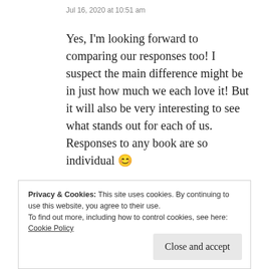Jul 16, 2020 at 10:51 am
Yes, I'm looking forward to comparing our responses too! I suspect the main difference might be in just how much we each love it! But it will also be very interesting to see what stands out for each of us. Responses to any book are so individual 😊
★ Like
Privacy & Cookies: This site uses cookies. By continuing to use this website, you agree to their use.
To find out more, including how to control cookies, see here:
Cookie Policy

Close and accept